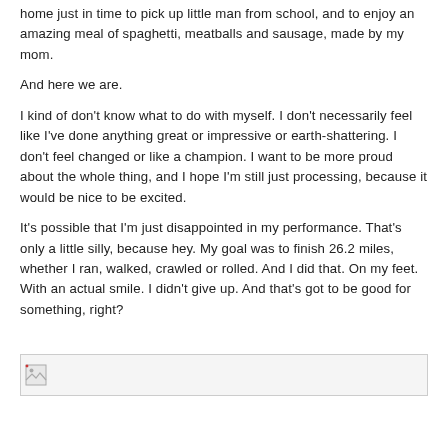home just in time to pick up little man from school, and to enjoy an amazing meal of spaghetti, meatballs and sausage, made by my mom.
And here we are.
I kind of don't know what to do with myself. I don't necessarily feel like I've done anything great or impressive or earth-shattering. I don't feel changed or like a champion. I want to be more proud about the whole thing, and I hope I'm still just processing, because it would be nice to be excited.
It's possible that I'm just disappointed in my performance. That's only a little silly, because hey. My goal was to finish 26.2 miles, whether I ran, walked, crawled or rolled. And I did that. On my feet. With an actual smile. I didn't give up. And that's got to be good for something, right?
[Figure (photo): Broken/unloaded image placeholder at the bottom of the page]